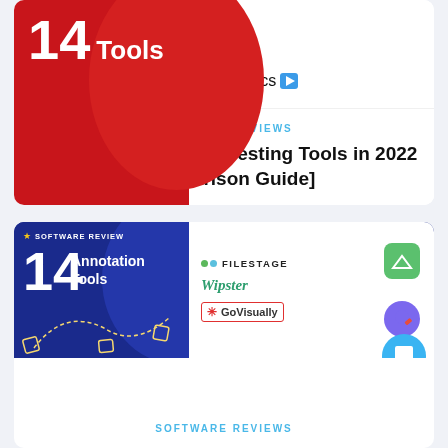[Figure (illustration): Red banner image showing '14 Tools' text in white on red background with circle shape, plus Userlytics and Useberry logos on the right]
SOFTWARE REVIEWS
The Best 14 Usability Testing Tools in 2022 [Comparison Guide]
[Figure (illustration): Dark blue banner showing 'SOFTWARE REVIEW ★ 14 Annotation Tools' with yellow dashed arrow graphics; right side shows Filestage, Wipster, GoVisually logos and app icons]
SOFTWARE REVIEWS